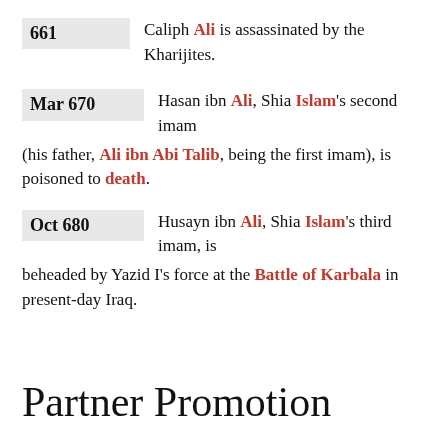661 — Caliph Ali is assassinated by the Kharijites.
Mar 670 — Hasan ibn Ali, Shia Islam's second imam (his father, Ali ibn Abi Talib, being the first imam), is poisoned to death.
Oct 680 — Husayn ibn Ali, Shia Islam's third imam, is beheaded by Yazid I's force at the Battle of Karbala in present-day Iraq.
Partner Promotion